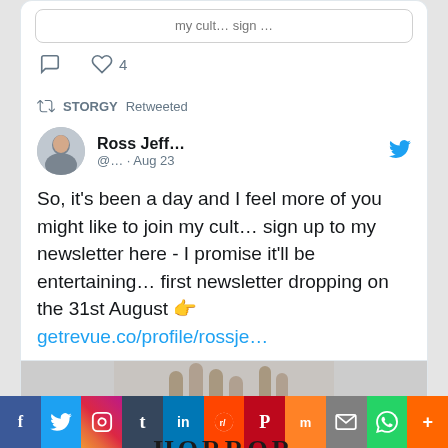my cult… sign …
💬  ♡ 4
↺ STORGY Retweeted
Ross Jeff... @… · Aug 23
So, it's been a day and I feel more of you might like to join my cult… sign up to my newsletter here - I promise it'll be entertaining… first newsletter dropping on the 31st August 👉 getrevue.co/profile/rossje…
[Figure (photo): Partial image showing hands reaching up with the word HORROR partially visible]
[Figure (infographic): Social share bar with Facebook, Twitter, Instagram, Tumblr, LinkedIn, Reddit, Pinterest, Mix, Email, WhatsApp, More buttons]